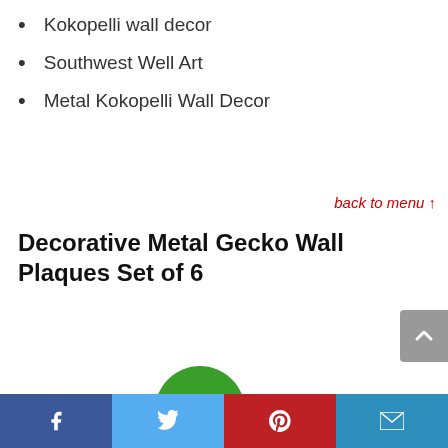Kokopelli wall decor
Southwest Well Art
Metal Kokopelli Wall Decor
back to menu ↑
Decorative Metal Gecko Wall Plaques Set of 6
[Figure (other): Green circular discount badge showing -27%]
Facebook | Twitter | Pinterest | Email social share bar